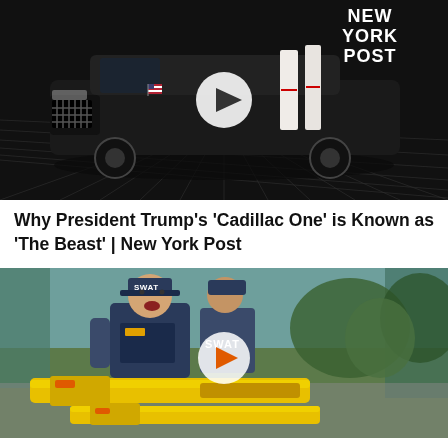[Figure (screenshot): Video thumbnail showing a black Presidential limousine (Cadillac One) with open doors on a dark grid background, with New York Post logo in top right and a play button overlay]
Why President Trump's 'Cadillac One' is Known as 'The Beast' | New York Post
[Figure (screenshot): Video thumbnail showing a man in SWAT gear yelling, with yellow Nerf guns on a table in the foreground, and a play button overlay]